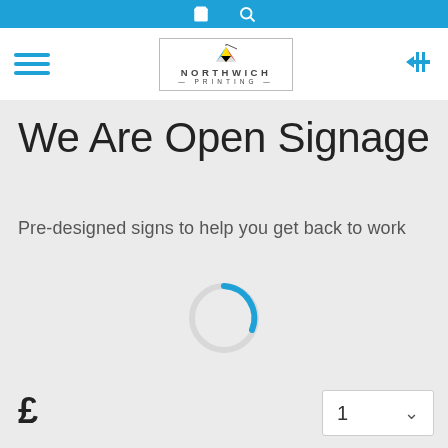Northwich Printing — navigation bar with cart and search icons, hamburger menu, logo, and layout toggle
We Are Open Signage
Pre-designed signs to help you get back to work
[Figure (other): Loading spinner — circular spinner with a blue arc on a light grey ring, indicating content is loading]
£
1